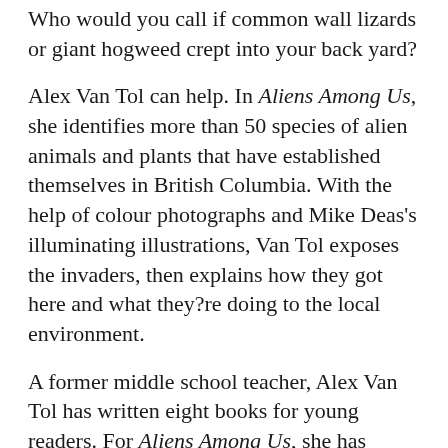Who would you call if common wall lizards or giant hogweed crept into your back yard?
Alex Van Tol can help. In Aliens Among Us, she identifies more than 50 species of alien animals and plants that have established themselves in British Columbia. With the help of colour photographs and Mike Deas's illuminating illustrations, Van Tol exposes the invaders, then explains how they got here and what they?re doing to the local environment.
A former middle school teacher, Alex Van Tol has written eight books for young readers. For Aliens Among Us, she has harvested the knowledge of museum biologists to alert the next generation of responsible environmentalists. Her list of invaders includes purple loosestrife and yellow perch, Norway rats and American bullfrogs, northern snakeheads